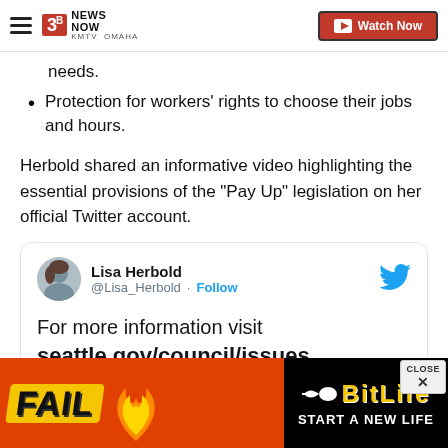3 News Now KMTV Omaha | Watch Now
needs.
Protection for workers' rights to choose their jobs and hours.
Herbold shared an informative video highlighting the essential provisions of the "Pay Up" legislation on her official Twitter account.
[Figure (screenshot): Embedded tweet from Lisa Herbold (@Lisa_Herbold) with a Follow button and Twitter bird icon. Tweet text reads: For more information visit seattle.gov/council/issues]
[Figure (photo): Advertisement banner for BitLife game showing 'FAIL' text, cartoon character, flames, and 'START A NEW LIFE' text on black background. Has a CLOSE button in top right corner.]